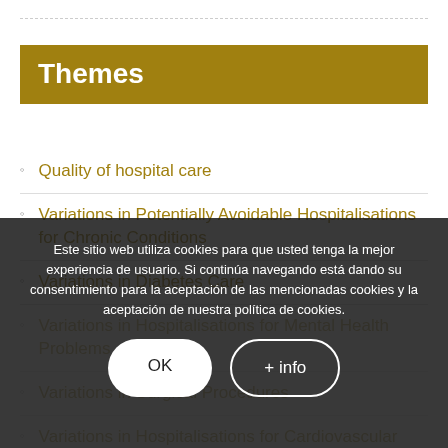Themes
Quality of hospital care
Variations in Potentially Avoidable Hospitalisations for Chronic Conditions
Variations in Diabetes Care
Variations in Hospitalisations for Mental Health Problems
Variations in Surgical Procedures
Variations in Hospitalisations for Cardiovascular Conditions
Este sitio web utiliza cookies para que usted tenga la mejor experiencia de usuario. Si continúa navegando está dando su consentimiento para la aceptación de las mencionadas cookies y la aceptación de nuestra política de cookies.
OK
+ info